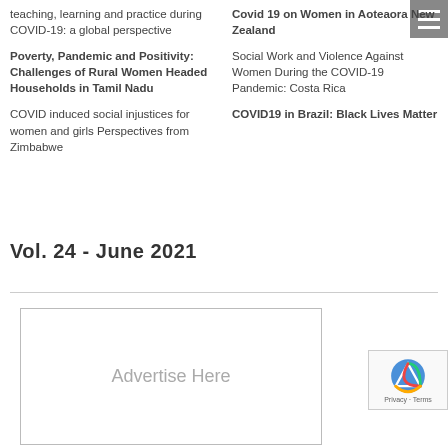teaching, learning and practice during COVID-19: a global perspective
Poverty, Pandemic and Positivity: Challenges of Rural Women Headed Households in Tamil Nadu
COVID induced social injustices for women and girls Perspectives from Zimbabwe
Covid 19 on Women in Aoteaora New Zealand
Social Work and Violence Against Women During the COVID-19 Pandemic: Costa Rica
COVID19 in Brazil: Black Lives Matter
Vol. 24 - June 2021
[Figure (other): Advertise Here placeholder box]
[Figure (other): reCAPTCHA Privacy Terms widget]